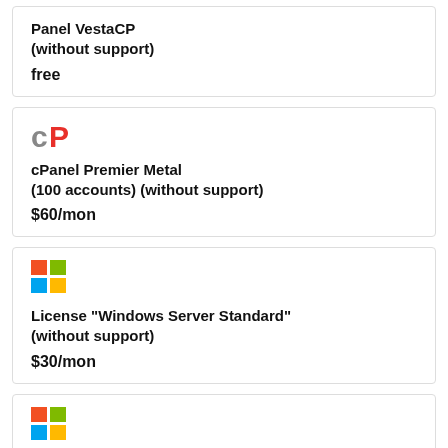Panel VestaCP (without support)
free
[Figure (logo): cPanel logo - red/orange stylized cP letters]
cPanel Premier Metal (100 accounts) (without support)
$60/mon
[Figure (logo): Microsoft Windows logo - four colored squares (red, green, blue, yellow)]
License "Windows Server Standard" (without support)
$30/mon
[Figure (logo): Microsoft Windows logo - four colored squares (red, green, blue, yellow)]
Windows Remote Desktop (1 user)
What is it and when is it necessary?